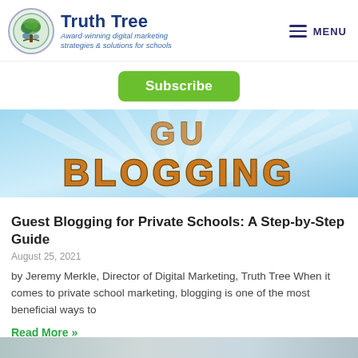Truth Tree — Award-winning digital marketing strategies & solutions for schools | MENU
Subscribe
[Figure (photo): Hero banner image showing wooden 3D text reading 'GUEST BLOGGING' on a light blue background with radiating rays.]
Guest Blogging for Private Schools: A Step-by-Step Guide
August 25, 2021
by Jeremy Merkle, Director of Digital Marketing, Truth Tree When it comes to private school marketing, blogging is one of the most beneficial ways to
Read More »